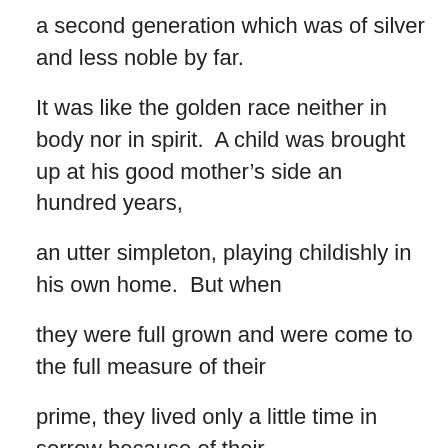a second generation which was of silver and less noble by far.
It was like the golden race neither in body nor in spirit.  A child was brought up at his good mother’s side an hundred years,
an utter simpleton, playing childishly in his own home.  But when
they were full grown and were come to the full measure of their
prime, they lived only a little time in sorrow because of their
foolishness, for they could not keep from sinning and from